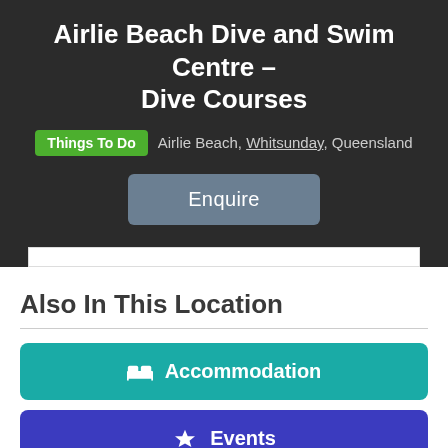Airlie Beach Dive and Swim Centre – Dive Courses
Things To Do   Airlie Beach, Whitsunday, Queensland
Enquire
Also In This Location
Accommodation
Events
Food
Transport